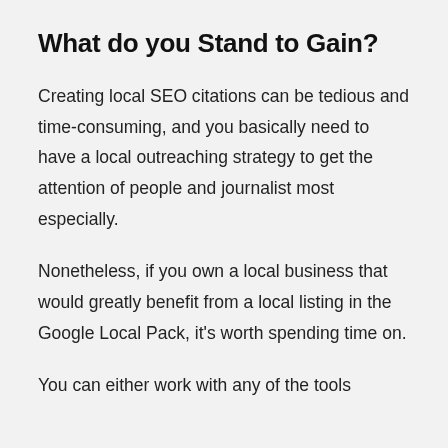What do you Stand to Gain?
Creating local SEO citations can be tedious and time-consuming, and you basically need to have a local outreaching strategy to get the attention of people and journalist most especially.
Nonetheless, if you own a local business that would greatly benefit from a local listing in the Google Local Pack, it's worth spending time on.
You can either work with any of the tools